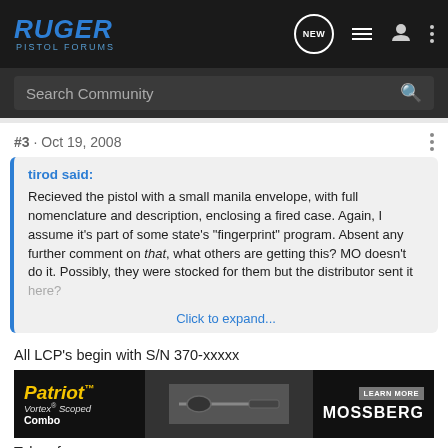RUGER PISTOL FORUMS
Search Community
#3 · Oct 19, 2008
tirod said:
Recieved the pistol with a small manila envelope, with full nomenclature and description, enclosing a fired case. Again, I assume it's part of some state's "fingerprint" program. Absent any further comment on that, what others are getting this? MO doesn't do it. Possibly, they were stocked for them but the distributor sent it here?
Click to expand...
All LCP's begin with S/N 370-xxxxx
Taken fr
[Figure (screenshot): Mossberg Patriot advertisement banner with rifle image, 'Patriot Vortex Scoped Combo' text and 'LEARN MORE MOSSBERG' branding]